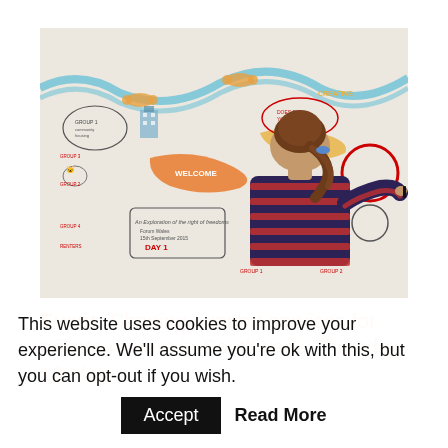[Figure (photo): A person with brown hair in a ponytail, wearing a red and navy striped long-sleeve shirt, standing with their back to the camera drawing on a large white illustrated mural/whiteboard. The mural contains colourful hand-drawn speech bubbles, thought bubbles, illustrations, and text about group activities and rights of freedoms. The mural includes blue curving lines, orange bone shapes, and various cartoon figures.]
Event: Shaping support services for private renters in Southwark, Thursday 19 May
This website uses cookies to improve your experience. We'll assume you're ok with this, but you can opt-out if you wish. Accept Read More